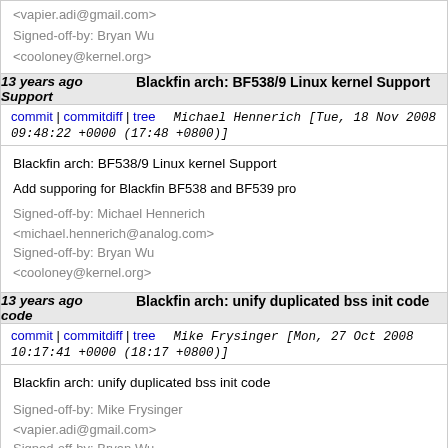<vapier.adi@gmail.com> Signed-off-by: Bryan Wu <cooloney@kernel.org>
13 years ago Blackfin arch: BF538/9 Linux kernel Support
commit | commitdiff | tree   Michael Hennerich [Tue, 18 Nov 2008 09:48:22 +0000 (17:48 +0800)]
Blackfin arch: BF538/9 Linux kernel Support

Add supporing for Blackfin BF538 and BF539 pro...

Signed-off-by: Michael Hennerich <michael.hennerich@analog.com>
Signed-off-by: Bryan Wu <cooloney@kernel.org>
13 years ago Blackfin arch: unify duplicated bss init code
commit | commitdiff | tree   Mike Frysinger [Mon, 27 Oct 2008 10:17:41 +0000 (18:17 +0800)]
Blackfin arch: unify duplicated bss init code

Signed-off-by: Mike Frysinger <vapier.adi@gmail.com>
Signed-off-by: Bryan Wu <cooloney@kernel.org>